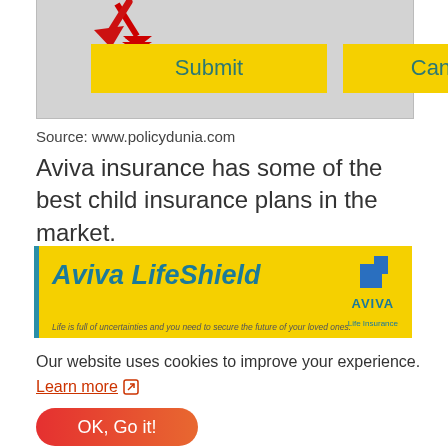[Figure (screenshot): Screenshot of a web form with a red arrow pointing down to two yellow buttons labeled 'Submit' and 'Cancel' on a grey background]
Source: www.policydunia.com
Aviva insurance has some of the best child insurance plans in the market.
[Figure (illustration): Aviva LifeShield advertisement banner on yellow background with teal text and Aviva Life Insurance logo. Tagline: Life is full of uncertainties and you need to secure the future of your loved ones.]
Our website uses cookies to improve your experience.
Learn more ↗
OK, Go it!